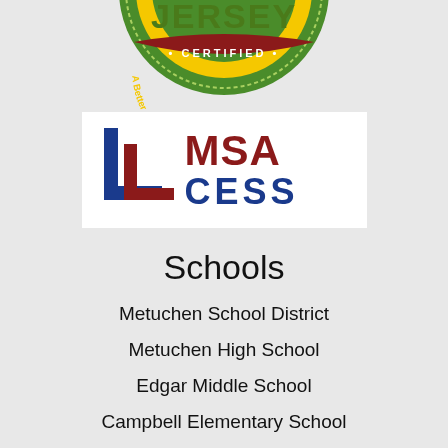[Figure (logo): Jersey Certified badge - partially visible at top, green circular badge with red 'CERTIFIED' band and curved text 'A Better Tomorrow, One Community at a Time']
[Figure (logo): MSA CESS logo - white background box with blue L-shaped bracket design and dark red 'MSA' text above blue 'CESS' text]
Schools
Metuchen School District
Metuchen High School
Edgar Middle School
Campbell Elementary School